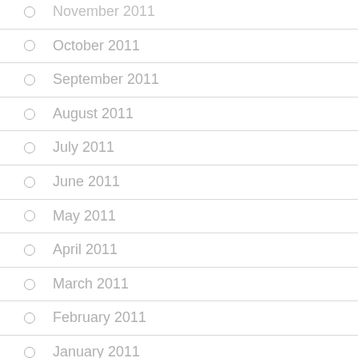November 2011
October 2011
September 2011
August 2011
July 2011
June 2011
May 2011
April 2011
March 2011
February 2011
January 2011